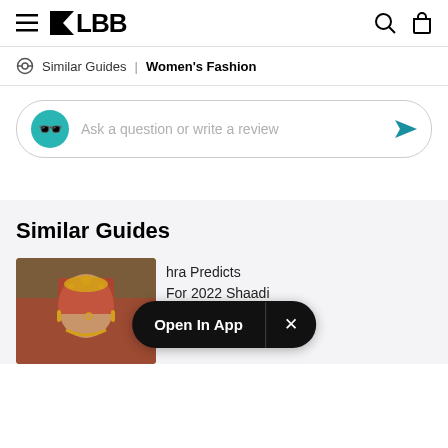≡ LBB [search icon] [bag icon]
Similar Guides   Women's Fashion
[Figure (screenshot): Review input box with teal avatar showing sunglasses emoji, placeholder text 'Ask a question or write a review', and a teal send arrow button]
Similar Guides
[Figure (photo): Photo of a woman in traditional Indian bridal attire with gold jewelry and red dupatta]
hra Predicts For 2022 Shaadi Season!
[Figure (screenshot): Open In App banner overlay with X close button]